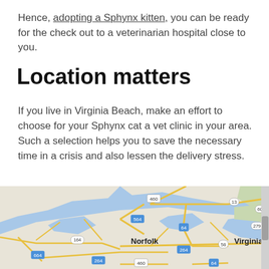Hence, adopting a Sphynx kitten, you can be ready for the check out to a veterinarian hospital close to you.
Location matters
If you live in Virginia Beach, make an effort to choose for your Sphynx cat a vet clinic in your area. Such a selection helps you to save the necessary time in a crisis and also lessen the delivery stress.
[Figure (map): Google Maps view showing the Hampton Roads area of Virginia including Norfolk, Virginia Beach, and surrounding highways including routes 460, 564, 13, 60, 164, 64, 58, 264, 279, 664, and others.]